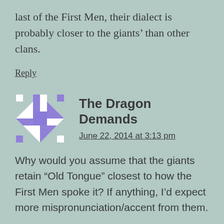last of the First Men, their dialect is probably closer to the giants’ than other clans.
Reply
[Figure (illustration): Avatar icon with purple and white geometric diamond/quilt pattern]
The Dragon Demands
June 22, 2014 at 3:13 pm
Why would you assume that the giants retain “Old Tongue” closest to how the First Men spoke it? If anything, I’d expect more mispronunciation/accent from them.